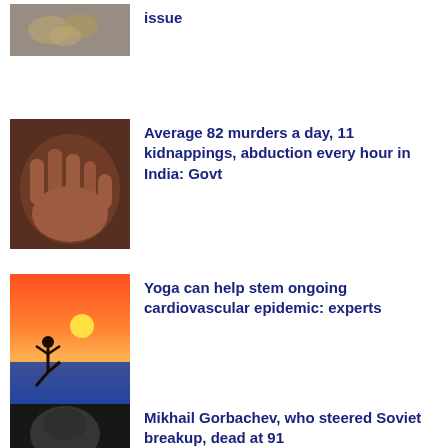[Figure (photo): Partial thumbnail of coins/money]
issue
[Figure (photo): Close-up of a hand, crime-related image]
Average 82 murders a day, 11 kidnappings, abduction every hour in India: Govt
[Figure (photo): Silhouette of person doing yoga pose at sunset over ocean]
Yoga can help stem ongoing cardiovascular epidemic: experts
[Figure (photo): Portrait of Mikhail Gorbachev, elderly man]
Mikhail Gorbachev, who steered Soviet breakup, dead at 91